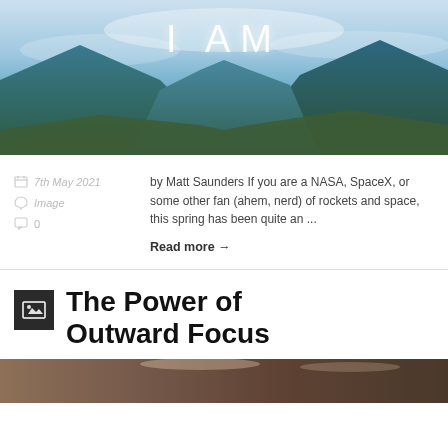[Figure (photo): Mountain landscape with blue sky and clouds, text 'I AM' overlaid in large white letters]
7th May 2021
Image
0
by Matt Saunders If you are a NASA, SpaceX, or some other fan (ahem, nerd) of rockets and space, this spring has been quite an ...
Read more →
The Power of Outward Focus
[Figure (photo): Bottom portion of an article image, partially visible]